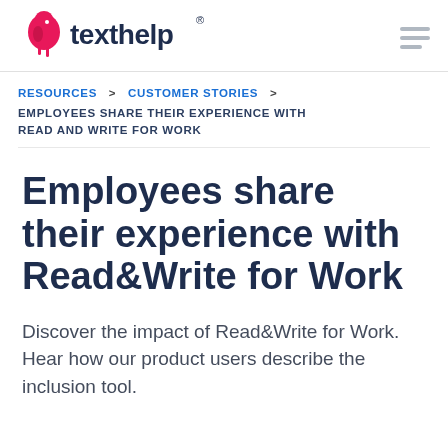[Figure (logo): Texthelp logo with pink bird/pen icon and dark blue 'texthelp' wordmark with registered trademark symbol]
RESOURCES > CUSTOMER STORIES > EMPLOYEES SHARE THEIR EXPERIENCE WITH READ AND WRITE FOR WORK
Employees share their experience with Read&Write for Work
Discover the impact of Read&Write for Work. Hear how our product users describe the inclusion tool.